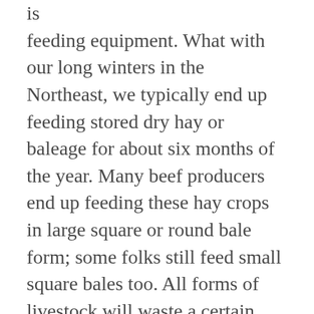is feeding equipment. What with our long winters in the Northeast, we typically end up feeding stored dry hay or baleage for about six months of the year. Many beef producers end up feeding these hay crops in large square or round bale form; some folks still feed small square bales too. All forms of livestock will waste a certain percentage of feed. We attempt to minimize this from happening with the judicious choice of mangers and feeders. We want to achieve maximum benefit to the animals and ensure their safety as well as for humans too.
If you were to just go out into the barnyard